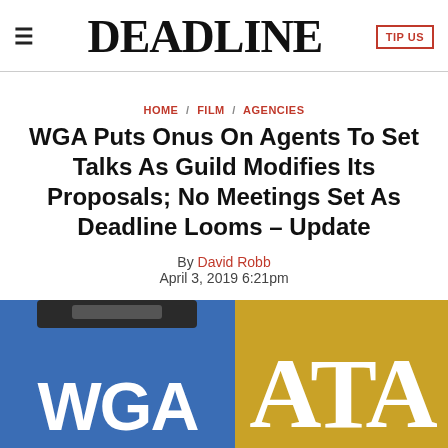DEADLINE
HOME / FILM / AGENCIES
WGA Puts Onus On Agents To Set Talks As Guild Modifies Its Proposals; No Meetings Set As Deadline Looms – Update
By David Robb
April 3, 2019 6:21pm
[Figure (logo): WGA logo on blue background alongside ATA logo on gold background]